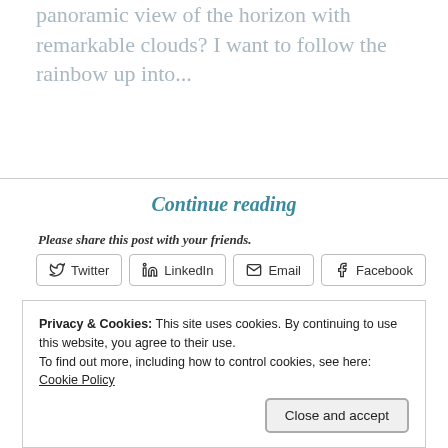panoramic view of the horizon with remarkable clouds? I want to follow the rainbow up into...
Continue reading
Please share this post with your friends.
Twitter | LinkedIn | Email | Facebook
Print
Like this:
Loading…
Privacy & Cookies: This site uses cookies. By continuing to use this website, you agree to their use. To find out more, including how to control cookies, see here: Cookie Policy
Close and accept